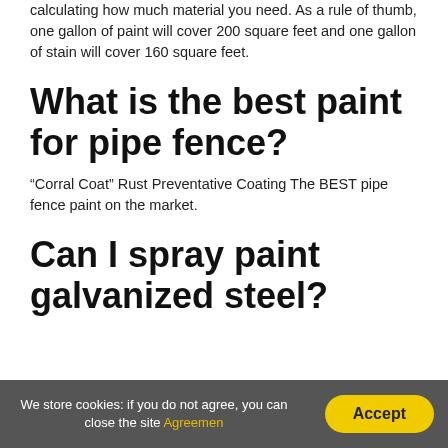calculating how much material you need. As a rule of thumb, one gallon of paint will cover 200 square feet and one gallon of stain will cover 160 square feet.
What is the best paint for pipe fence?
“Corral Coat” Rust Preventative Coating The BEST pipe fence paint on the market.
Can I spray paint galvanized steel?
We store cookies: if you do not agree, you can close the site Agreemen   Accept